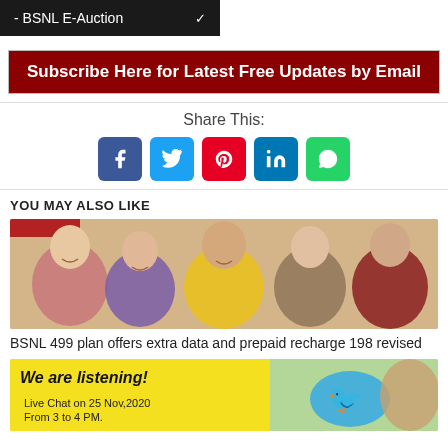- BSNL E-Auction
Subscribe Here for Latest Free Updates by Email
Share This:
[Figure (infographic): Social share icons: Facebook (blue), Twitter (cyan), Pinterest (red), LinkedIn (dark blue), WhatsApp (green)]
YOU MAY ALSO LIKE
[Figure (photo): Group of five young people smiling, posing together on a warm background]
BSNL 499 plan offers extra data and prepaid recharge 198 revised
[Figure (photo): We are listening! Live Chat on 25 Nov,2020 From 3 to 4 PM. Twitter bird logo, man smiling in background]